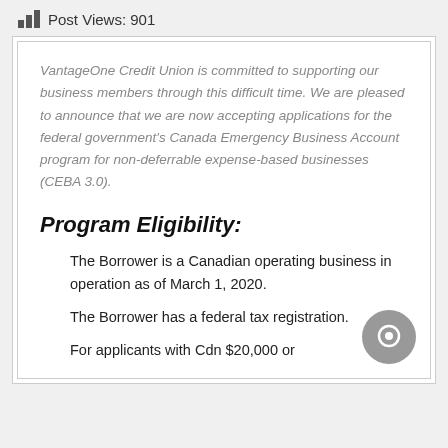Post Views: 901
VantageOne Credit Union is committed to supporting our business members through this difficult time. We are pleased to announce that we are now accepting applications for the federal government's Canada Emergency Business Account program for non-deferrable expense-based businesses (CEBA 3.0).
Program Eligibility:
The Borrower is a Canadian operating business in operation as of March 1, 2020.
The Borrower has a federal tax registration.
For applicants with Cdn $20,000 or